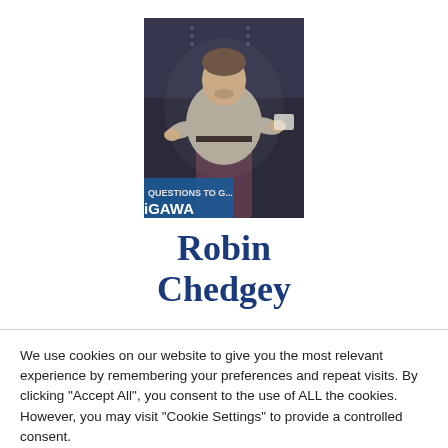[Figure (photo): A man speaking on stage at an iGAWA event, wearing a light grey shirt and dark trousers, gesturing with hands, with a dark background.]
Robin Chedgey
We use cookies on our website to give you the most relevant experience by remembering your preferences and repeat visits. By clicking "Accept All", you consent to the use of ALL the cookies. However, you may visit "Cookie Settings" to provide a controlled consent.